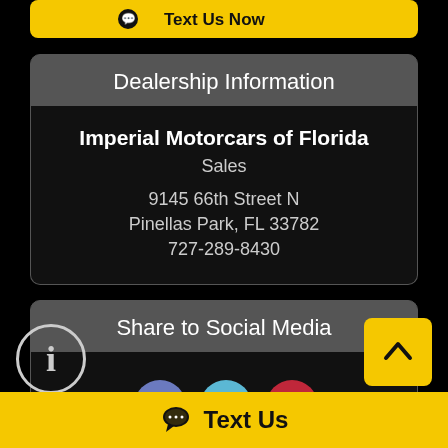[Figure (screenshot): Partial yellow 'Text Us Now' button at top, cropped]
Dealership Information
Imperial Motorcars of Florida
Sales
9145 66th Street N
Pinellas Park, FL 33782
727-289-8430
Share to Social Media
[Figure (infographic): Social media icons: Facebook (blue), Twitter (light blue), Pinterest (red)]
[Figure (infographic): Back to top arrow button (yellow)]
[Figure (infographic): Info icon (circular, white outline)]
Text Us